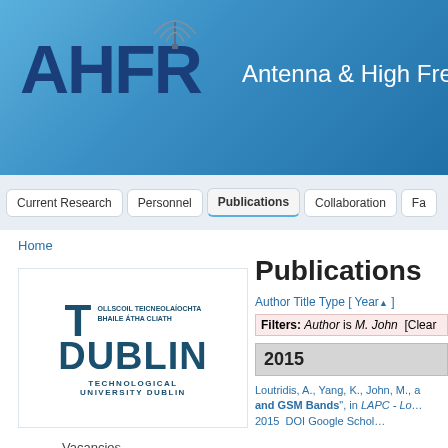[Figure (logo): AHFR Antenna & High Frequency Research group banner with blue gradient background, AHFR logo in dark blue letters with antenna icon, and 'Antenna & High Fre...' text in white]
Current Research | Personnel | Publications | Collaboration | Fa...
Home
[Figure (logo): TU Dublin - Technological University Dublin logo with T and DUBLIN text in dark teal]
Publications
Author Title Type [ Year▲ ]
Filters: Author is M. John [Clear
2015
Loutridis, A., Yang, K., John, M., a... and GSM Bands", in LAPC - Lo... 2015 DOI Google Schol...
Vacancies